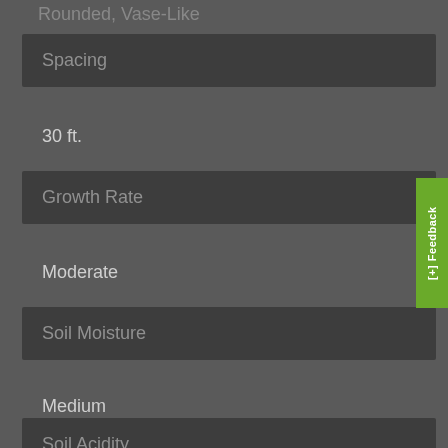Rounded, Vase-Like
Spacing
30 ft.
Growth Rate
Moderate
Soil Moisture
Medium
Soil Acidity
Acidic